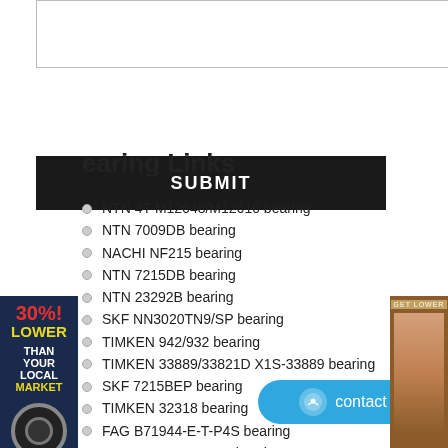[Figure (screenshot): Text area input box (empty)]
[Figure (screenshot): Submit button (dark background, white bold text)]
[Figure (infographic): Left sidebar ad: 30% LOWER THAN YOUR LOCAL MARKET with bearing icon]
[Figure (photo): Right sidebar ad with person silhouette on brown background]
Bearing Links
NTN 4T-M12648/M12610 bearing
NTN 7009DB bearing
NACHI NF215 bearing
NTN 7215DB bearing
NTN 23292B bearing
SKF NN3020TN9/SP bearing
TIMKEN 942/932 bearing
TIMKEN 33889/33821D X1S-33889 bearing
SKF 7215BEP bearing
TIMKEN 32318 bearing
FAG B71944-E-T-P4S bearing
FAG NU1092-TB-M1 bearing
FAG 6418-M bearing
KOYO NJ424 bearing
FAG NNU4128-M bearing
KOYO 1318K bearing
[Figure (screenshot): Contact button (blue rounded rectangle)]